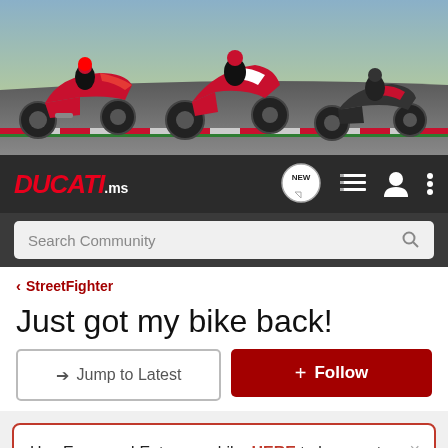[Figure (photo): Banner image showing three Ducati motorcycles racing on a track with a green hillside background. One red sportbike on the left, a red/white motard in the center, and a dark naked bike on the right.]
[Figure (logo): DUCATI.ms logo in red italic bold font with .ms in white, on dark grey navbar background. Navigation icons to the right: speech bubble with NEW label, hamburger/list icon, user icon, vertical three-dot menu icon.]
Search Community
< StreetFighter
Just got my bike back!
→ Jump to Latest
+ Follow
Hey Everyone! Enter your bike HERE to be a part of this months Bike of the Month Challenge!